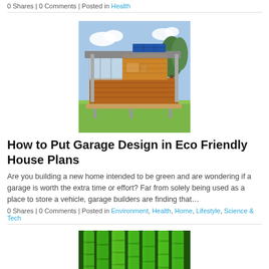0 Shares | 0 Comments | Posted in Health
[Figure (photo): Modern eco-friendly house with wood paneling, glass walls, solar panels on roof, and a deck, surrounded by greenery]
How to Put Garage Design in Eco Friendly House Plans
Are you building a new home intended to be green and are wondering if a garage is worth the extra time or effort? Far from solely being used as a place to store a vehicle, garage builders are finding that…
0 Shares | 0 Comments | Posted in Environment, Health, Home, Lifestyle, Science & Tech
[Figure (photo): Close-up of green bamboo stalks]